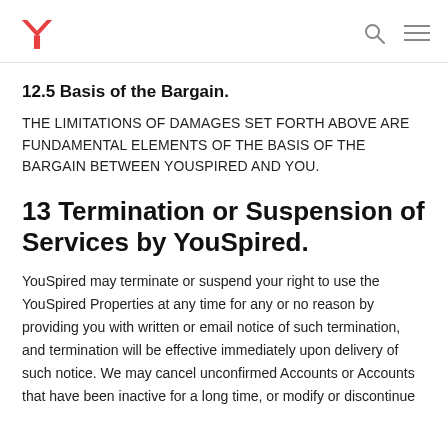YouSpired logo, search icon, menu icon
12.5 Basis of the Bargain.
THE LIMITATIONS OF DAMAGES SET FORTH ABOVE ARE FUNDAMENTAL ELEMENTS OF THE BASIS OF THE BARGAIN BETWEEN YOUSPIRED AND YOU.
13 Termination or Suspension of Services by YouSpired.
YouSpired may terminate or suspend your right to use the YouSpired Properties at any time for any or no reason by providing you with written or email notice of such termination, and termination will be effective immediately upon delivery of such notice. We may cancel unconfirmed Accounts or Accounts that have been inactive for a long time, or modify or discontinue